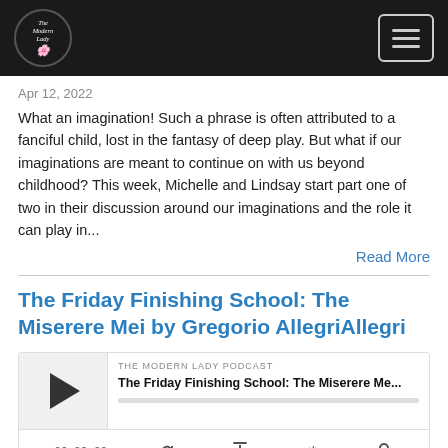The Modern Lady Podcast — navigation header
Apr 12, 2022
What an imagination!  Such a phrase is often attributed to a fanciful child, lost in the fantasy of deep play.  But what if our imaginations are meant to continue on with us beyond childhood?  This week, Michelle and Lindsay start part one of two in their discussion around our imaginations and the role it can play in...
Read More
The Friday Finishing School: The Miserere Mei by Gregorio AllegriAllegri
[Figure (screenshot): Podcast player widget showing 'THE MODERN LADY PODCAST' label, episode title 'The Friday Finishing School: The Miserere Me...', a play button, progress bar, time display 00:00:00, and media control icons.]